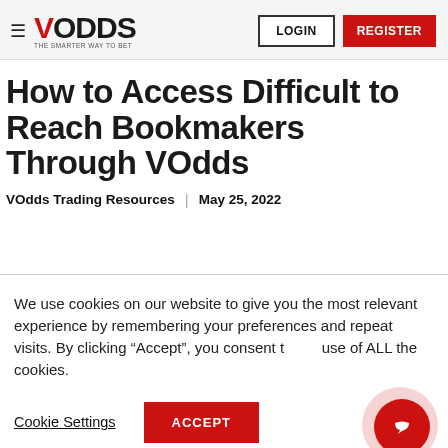VOdds — THE SMARTER WAY TO BET | LOGIN | REGISTER
How to Access Difficult to Reach Bookmakers Through VOdds
VOdds Trading Resources  |  May 25, 2022
We use cookies on our website to give you the most relevant experience by remembering your preferences and repeat visits. By clicking "Accept", you consent to the use of ALL the cookies.
Cookie Settings | ACCEPT